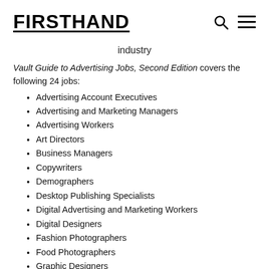FIRSTHAND
industry
Vault Guide to Advertising Jobs, Second Edition covers the following 24 jobs:
Advertising Account Executives
Advertising and Marketing Managers
Advertising Workers
Art Directors
Business Managers
Copywriters
Demographers
Desktop Publishing Specialists
Digital Advertising and Marketing Workers
Digital Designers
Fashion Photographers
Food Photographers
Graphic Designers
Illustrators
Internet Marketing and Advertising